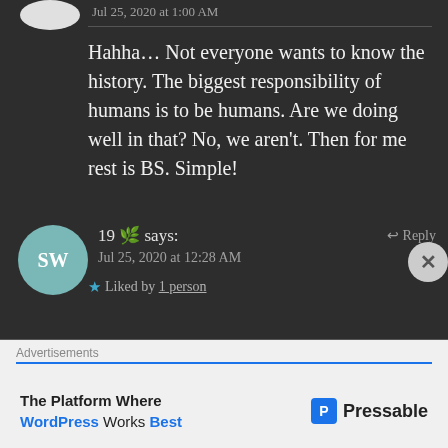Jul 25, 2020 at 1:00 AM
Hahha... Not everyone wants to know the history. The biggest responsibility of humans is to be humans. Are we doing well in that? No, we aren't. Then for me rest is BS. Simple!
★ Liked by 1 person
19 🌿 says:
Jul 25, 2020 at 12:28 AM
← Reply
Advertisements
The Platform Where WordPress Works Best
Pressable